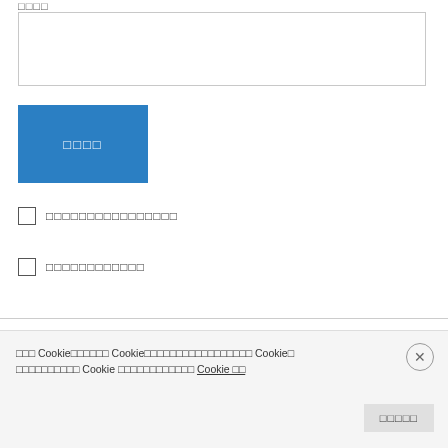□□□□
[Figure (other): Text input field (empty)]
[Figure (other): Blue submit button with garbled text (□□□□)]
□ □□□□□□□□□□□□□□□
□ □□□□□□□□□□□
cnsk□□□2008.11.28 10:33 □□
I recently discovered this blog. I've had a similiar
□□□ Cookie□□□□□□ Cookie□□□□□□□□□□□□□□□□□ Cookie□ □□□□□□□□□□ Cookie □□□□□□□□□□□□ Cookie □□
[Figure (other): Close button (X circle)]
[Figure (other): Accept/consent button with garbled text □□□□□]